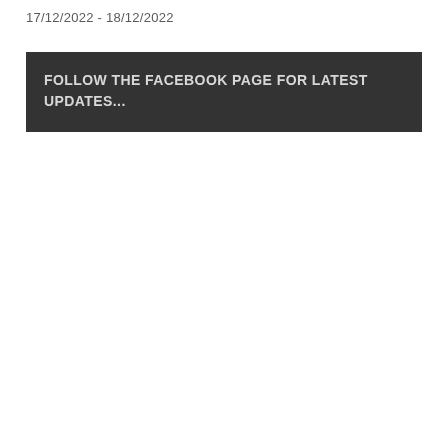17/12/2022 - 18/12/2022
FOLLOW THE FACEBOOK PAGE FOR LATEST UPDATES...